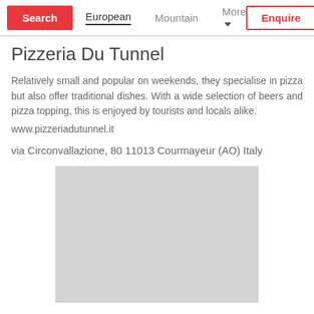Search | European | Mountain | More | Enquire
Pizzeria Du Tunnel
Relatively small and popular on weekends, they specialise in pizza but also offer traditional dishes. With a wide selection of beers and pizza topping, this is enjoyed by tourists and locals alike.
www.pizzeriadutunnel.it
via Circonvallazione, 80 11013 Courmayeur (AO) Italy
[Figure (map): Gray placeholder rectangle representing a map image of the restaurant location]